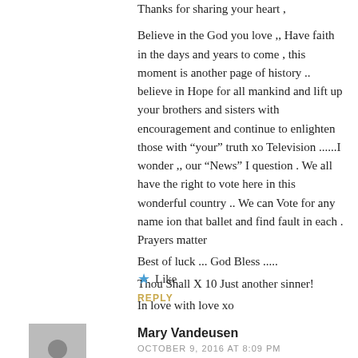Thanks for sharing your heart ,

Believe in the God you love ,, Have faith in the days and years to come , this moment is another page of history .. believe in Hope for all mankind and lift up your brothers and sisters with encouragement and continue to enlighten those with “your” truth xo Television ......I wonder ,, our “News” I question . We all have the right to vote here in this wonderful country .. We can Vote for any name ion that ballet and find fault in each . Prayers matter
Best of luck ... God Bless .....
Thou Shall X 10 Just another sinner!
In love with love xo
★ Like
REPLY
Mary Vandeusen
OCTOBER 9, 2016 AT 8:09 PM
In addition, do you observe the revealing way